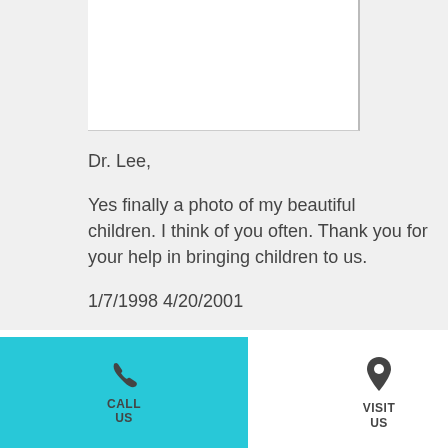[Figure (photo): Partial view of a framed photo with white background and grey strip on left, appearing to show children or family photo (mostly cropped out)]
Dr. Lee,

Yes finally a photo of my beautiful children. I think of you often. Thank you for your help in bringing children to us.

1/7/1998 4/20/2001

Thank you Dr. Lee!!
[Figure (infographic): Footer bar with cyan/teal CALL US button featuring phone icon, and VISIT US section with map pin icon, plus accessibility wheelchair badge]